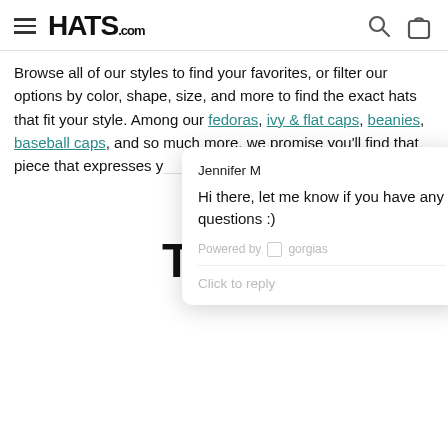HATS.com
Browse all of our styles to find your favorites, or filter our options by color, shape, size, and more to find the exact hats that fit your style. Among our fedoras, ivy & flat caps, beanies, baseball caps, and so much more, we promise you'll find that piece that expresses y...
[Figure (screenshot): Chat widget popup from Jennifer M saying 'Hi there, let me know if you have any questions :)' powered by Gorgias, with a 'Click to reply' option.]
Hats.com carries class... leading brands like Ba... and more. We're your headwear, and we can... facial shape and structure. We offer the finest products so that you can rest assured you're looking your best.
...timeless pieces like trilby hats and bucket hats, w... clean looks and classic shapes that work with a variety of outfits.